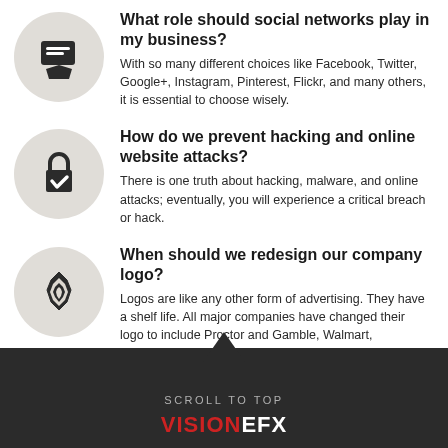What role should social networks play in my business? With so many different choices like Facebook, Twitter, Google+, Instagram, Pinterest, Flickr, and many others, it is essential to choose wisely.
How do we prevent hacking and online website attacks? There is one truth about hacking, malware, and online attacks; eventually, you will experience a critical breach or hack.
When should we redesign our company logo? Logos are like any other form of advertising. They have a shelf life. All major companies have changed their logo to include Proctor and Gamble, Walmart, Westinghouse, General Motors, Ford, Coke, McDonald's, etc.
SCROLL TO TOP VISIONEFX